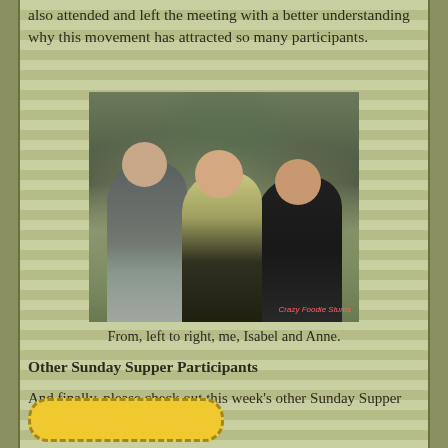also attended and left the meeting with a better understanding why this movement has attracted so many participants.
[Figure (photo): Photo of three people sitting together: a man on the left, a woman in the center wearing a yellow/green scarf, and a woman on the right with wavy hair. They are posing in what appears to be a restaurant or venue with greenery in the background. A watermark reads 'Crazy Foodie Stunts'.]
From, left to right, me, Isabel and Anne.
Other Sunday Supper Participants
And finally, please check out this week's other Sunday Supper contributors: